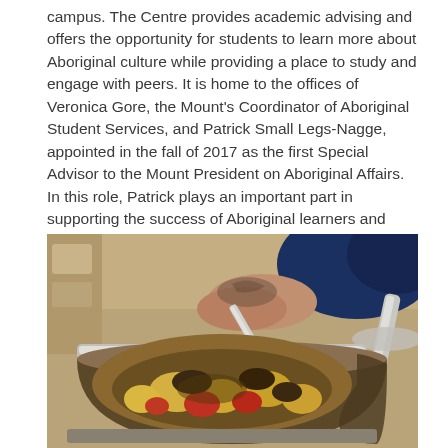campus. The Centre provides academic advising and offers the opportunity for students to learn more about Aboriginal culture while providing a place to study and engage with peers. It is home to the offices of Veronica Gore, the Mount's Coordinator of Aboriginal Student Services, and Patrick Small Legs-Nagge, appointed in the fall of 2017 as the first Special Advisor to the Mount President on Aboriginal Affairs. In this role, Patrick plays an important part in supporting the success of Aboriginal learners and ensuring meaningful relationships with the Aboriginal community – both of which are of great importance to the Mount.
[Figure (photo): Close-up photo of a person serving food from a chafing dish. The dish contains a stew with potatoes, red vegetables, and meat in a brown sauce. A silver serving ladle is being held over the pan. The person has a tattoo on their forearm and is wearing a blue top. The setting appears to be a buffet or food service area.]